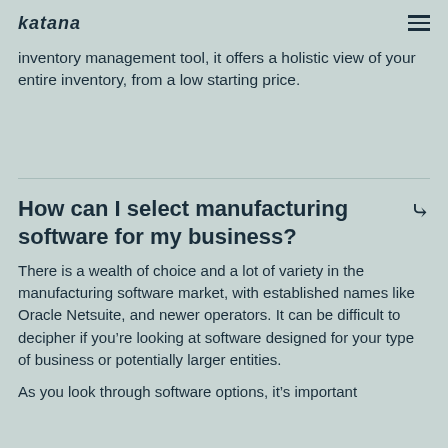katana [hamburger menu]
is. As a cloudbased inventory solution, Katana is easier to implement and access than enterprise solutions. And as an inventory management tool, it offers a holistic view of your entire inventory, from a low starting price.
How can I select manufacturing software for my business?
There is a wealth of choice and a lot of variety in the manufacturing software market, with established names like Oracle Netsuite, and newer operators. It can be difficult to decipher if you’re looking at software designed for your type of business or potentially larger entities.
As you look through software options, it’s important